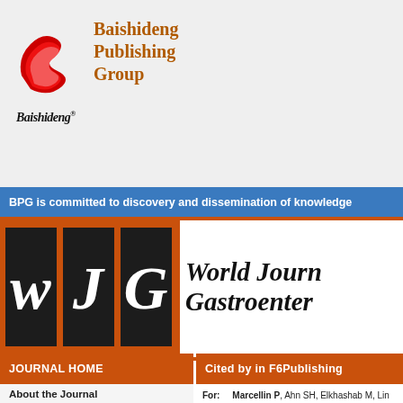[Figure (logo): Baishideng Publishing Group logo with red stylized 'B' icon and italic Baishideng script text]
Baishideng Publishing Group
BPG is committed to discovery and dissemination of knowledge
[Figure (logo): World Journal of Gastroenterology WJG logo with three dark tiles showing W, J, G in italic script]
JOURNAL HOME
Cited by in F6Publishing
About the Journal
All Issues
Article Processing Charge
Conflict-of-Interest Statement
Contact Us
Copyright License Agreement
For: Marcellin P, Ahn SH, Elkhashab M, Lin L, W Agarwal K, Idilman R, to tenofovir disoproxil f Pharmacol Ther 2016; 25] [Article Influence: 4
| Number |
| --- |